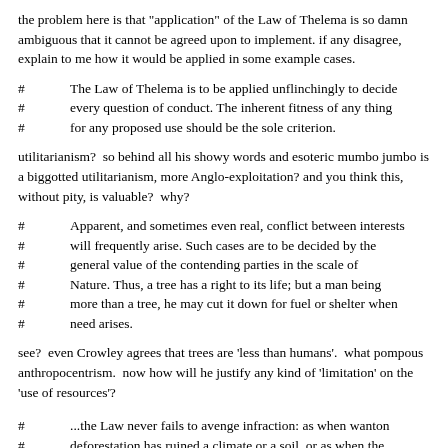the problem here is that "application" of the Law of Thelema is so damn ambiguous that it cannot be agreed upon to implement. if any disagree, explain to me how it would be applied in some example cases.
The Law of Thelema is to be applied unflinchingly to decide every question of conduct. The inherent fitness of any thing for any proposed use should be the sole criterion.
utilitarianism?  so behind all his showy words and esoteric mumbo jumbo is a biggotted utilitarianism, more Anglo-exploitation?  and you think this, without pity, is valuable?  why?
Apparent, and sometimes even real, conflict between interests will frequently arise. Such cases are to be decided by the general value of the contending parties in the scale of Nature. Thus, a tree has a right to its life; but a man being more than a tree, he may cut it down for fuel or shelter when need arises.
see?  even Crowley agrees that trees are 'less than humans'.  what pompous anthropocentrism.  now how will he justify any kind of 'limitation' on the 'use of resources'?
...the Law never fails to avenge infraction: as when wanton deforestation has ruined a climate or a soil, or as when the